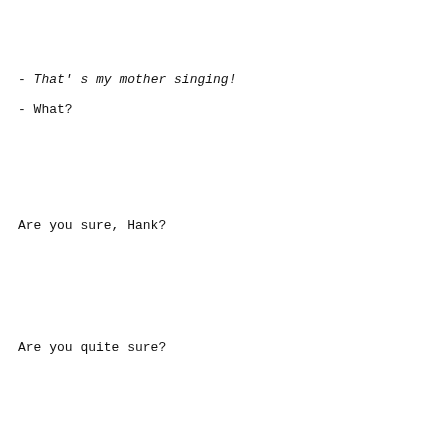- That's my mother singing!
- What?
Are you sure, Hank?
Are you quite sure?